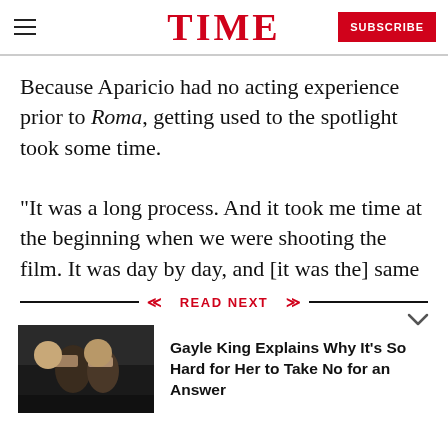TIME  SUBSCRIBE
Because Aparicio had no acting experience prior to Roma, getting used to the spotlight took some time.
“It was a long process. And it took me time at the beginning when we were shooting the film. It was day by day, and [it was the] same with the red
READ NEXT
Gayle King Explains Why It’s So Hard for Her to Take No for an Answer